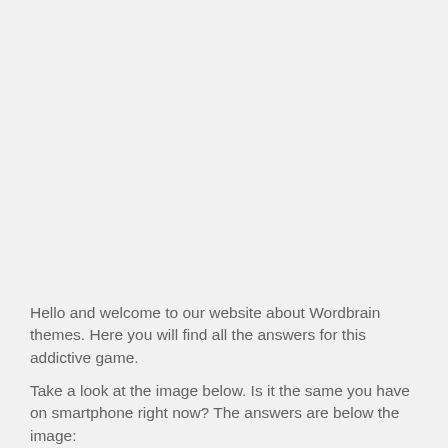Hello and welcome to our website about Wordbrain themes. Here you will find all the answers for this addictive game.
Take a look at the image below. Is it the same you have on smartphone right now? The answers are below the image: